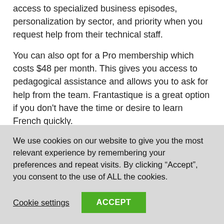access to specialized business episodes, personalization by sector, and priority when you request help from their technical staff.
You can also opt for a Pro membership which costs $48 per month. This gives you access to pedagogical assistance and allows you to ask for help from the team. Frantastique is a great option if you don't have the time or desire to learn French quickly.
4. Lingoda
We use cookies on our website to give you the most relevant experience by remembering your preferences and repeat visits. By clicking “Accept”, you consent to the use of ALL the cookies.
Cookie settings  ACCEPT